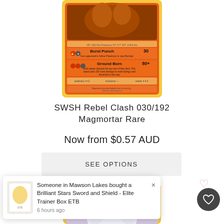[Figure (illustration): Pokemon card - Magmortar from SWSH Rebel Clash set, showing Burst Punch (30) and Ground Burn (80+) attacks on an orange background with yellow border]
SWSH Rebel Clash 030/192
Magmortar Rare
Now from $0.57 AUD
SEE OPTIONS
Someone in Mawson Lakes bought a Brilliant Stars Sword and Shield - Elite Trainer Box ETB
6 hours ago
[Figure (illustration): Bottom portion of another Pokemon card with yellow border visible]